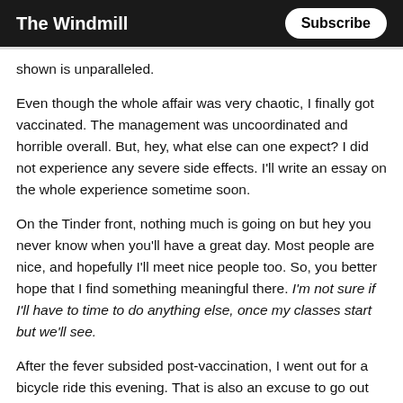The Windmill   Subscribe
shown is unparalleled.
Even though the whole affair was very chaotic, I finally got vaccinated. The management was uncoordinated and horrible overall. But, hey, what else can one expect? I did not experience any severe side effects. I'll write an essay on the whole experience sometime soon.
On the Tinder front, nothing much is going on but hey you never know when you'll have a great day. Most people are nice, and hopefully I'll meet nice people too. So, you better hope that I find something meaningful there. I'm not sure if I'll have to time to do anything else, once my classes start but we'll see.
After the fever subsided post-vaccination, I went out for a bicycle ride this evening. That is also an excuse to go out and take some photos. I had a great evening after a long time. If you wish to see those photos (mostly greenery